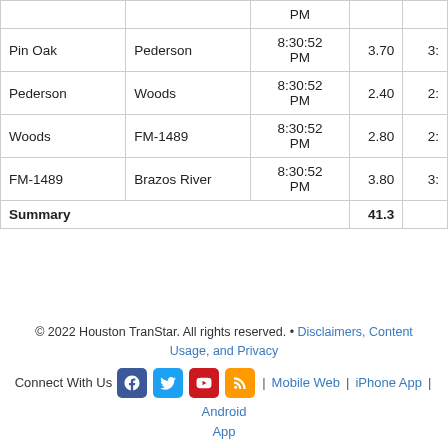| From | To | Time | Col4 | Col5 |
| --- | --- | --- | --- | --- |
|  |  | PM |  |  |
| Pin Oak | Pederson | 8:30:52 PM | 3.70 | 3: |
| Pederson | Woods | 8:30:52 PM | 2.40 | 2: |
| Woods | FM-1489 | 8:30:52 PM | 2.80 | 2: |
| FM-1489 | Brazos River | 8:30:52 PM | 3.80 | 3: |
| Summary |  |  | 41.3 |  |
© 2022 Houston TranStar. All rights reserved. • Disclaimers, Content Usage, and Privacy
Connect With Us | Mobile Web | iPhone App | Android App